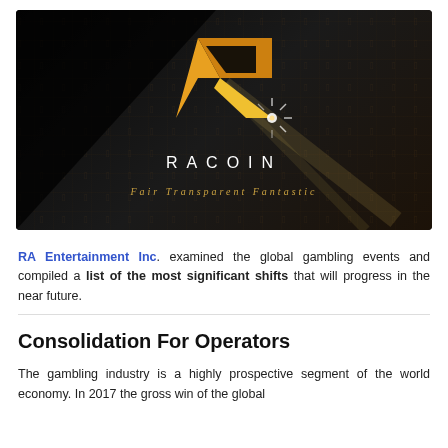[Figure (logo): RACOIN logo on dark background with Egyptian hieroglyphics texture. Gold R-shaped logo mark with light beam/starburst, white RACOIN text below, and gold italic tagline 'Fair Transparent Fantastic']
RA Entertainment Inc. examined the global gambling events and compiled a list of the most significant shifts that will progress in the near future.
Consolidation For Operators
The gambling industry is a highly prospective segment of the world economy. In 2017 the gross win of the global